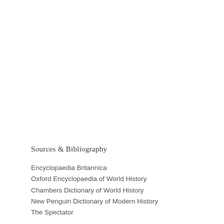Sources & Bibliography
Encyclopaedia Britannica
Oxford Encyclopaedia of World History
Chambers Dictionary of World History
New Penguin Dictionary of Modern History
The Spectator
Works of: